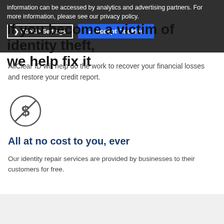information can be accessed by analytics and advertising partners. For more information, please see our privacy policy.
If you become a victim of identity theft, we help fix it
[Figure (other): Cookie Settings button and Accept Cookies button in dark overlay banner]
AllClear ID will help do the work to recover your financial losses and restore your credit report.
[Figure (illustration): Circle icon with a dollar sign crossed out, indicating no cost]
All at no cost to you, ever
Our identity repair services are provided by businesses to their customers for free.